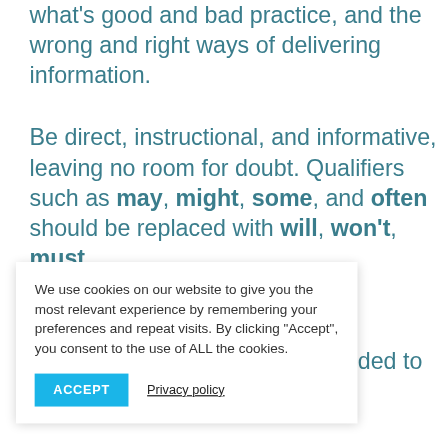what's good and bad practice, and the wrong and right ways of delivering information.
Be direct, instructional, and informative, leaving no room for doubt. Qualifiers such as may, might, some, and often should be replaced with will, won't, must, [never].
We use cookies on our website to give you the most relevant experience by remembering your preferences and repeat visits. By clicking "Accept", you consent to the use of ALL the cookies.
ACCEPT   Privacy policy
You should write in clear, easy to